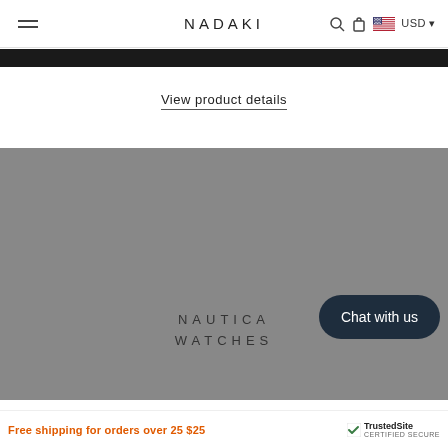NADAKI
[Figure (screenshot): Black banner strip below navigation bar]
View product details
[Figure (photo): Grey placeholder image area with white card overlay showing NAUTICA WATCHES text]
NAUTICA WATCHES
Chat with us
Free shipping for orders over 25 $25